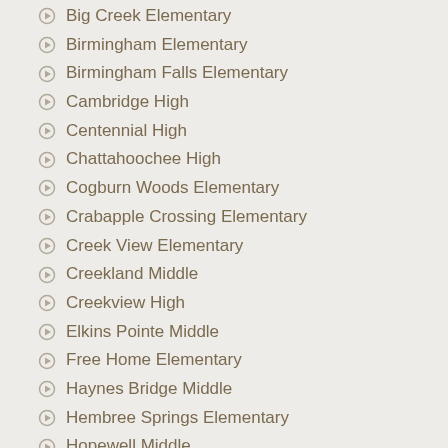Big Creek Elementary
Birmingham Elementary
Birmingham Falls Elementary
Cambridge High
Centennial High
Chattahoochee High
Cogburn Woods Elementary
Crabapple Crossing Elementary
Creek View Elementary
Creekland Middle
Creekview High
Elkins Pointe Middle
Free Home Elementary
Haynes Bridge Middle
Hembree Springs Elementary
Hopewell Middle